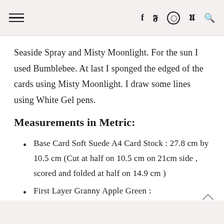≡  f  🐦  ⊙  𝓟  🔍
Seaside Spray and Misty Moonlight. For the sun I used Bumblebee. At last I sponged the edged of the cards using Misty Moonlight. I draw some lines using White Gel pens.
Measurements in Metric:
Base Card Soft Suede A4 Card Stock : 27.8 cm by 10.5 cm (Cut at half on 10.5 cm on 21cm side , scored and folded at half on 14.9 cm )
First Layer Granny Apple Green :